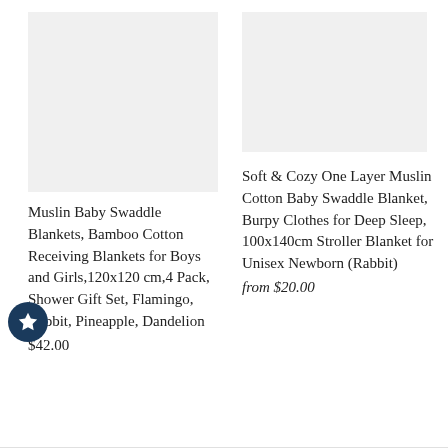[Figure (photo): Product image placeholder for Muslin Baby Swaddle Blankets, light gray background]
Muslin Baby Swaddle Blankets, Bamboo Cotton Receiving Blankets for Boys and Girls,120x120 cm,4 Pack, Shower Gift Set, Flamingo, Rabbit, Pineapple, Dandelion
$42.00
[Figure (photo): Product image placeholder for Soft & Cozy One Layer Muslin Cotton Baby Swaddle Blanket, light gray background]
Soft & Cozy One Layer Muslin Cotton Baby Swaddle Blanket, Burpy Clothes for Deep Sleep, 100x140cm Stroller Blanket for Unisex Newborn (Rabbit)
from $20.00